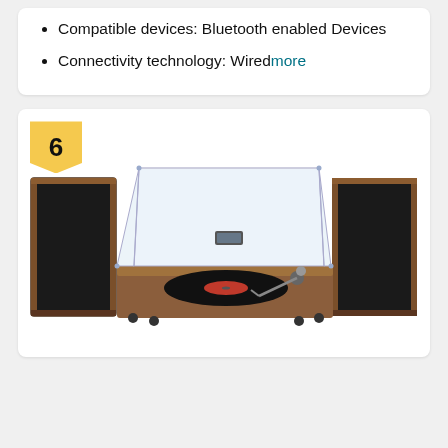Compatible devices: Bluetooth enabled Devices
Connectivity technology: Wiredmore
[Figure (photo): A vinyl turntable record player with a clear acrylic dust cover, sitting on a walnut wood base, flanked by two large walnut bookshelf speakers with black fabric fronts. A vinyl record is on the platter. Badge showing number 6 in the upper left corner of the card.]